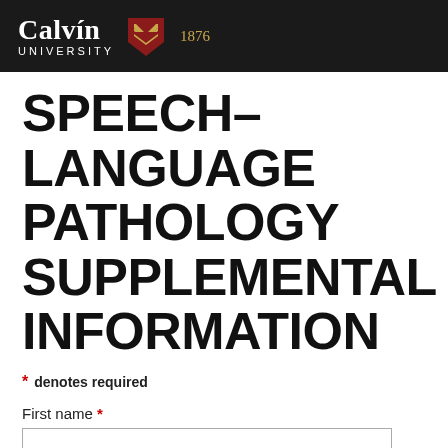Calvin University 1876
SPEECH–LANGUAGE PATHOLOGY SUPPLEMENTAL INFORMATION
* denotes required
First name *